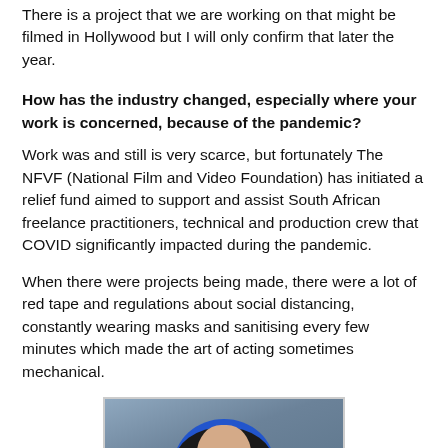There is a project that we are working on that might be filmed in Hollywood but I will only confirm that later the year.
How has the industry changed, especially where your work is concerned, because of the pandemic?
Work was and still is very scarce, but fortunately The NFVF (National Film and Video Foundation) has initiated a relief fund aimed to support and assist South African freelance practitioners, technical and production crew that COVID significantly impacted during the pandemic.
When there were projects being made, there were a lot of red tape and regulations about social distancing, constantly wearing masks and sanitising every few minutes which made the art of acting sometimes mechanical.
[Figure (photo): Portrait photo of a person wearing a dark hooded garment with a blue border, photographed against a blurred blue-grey background.]